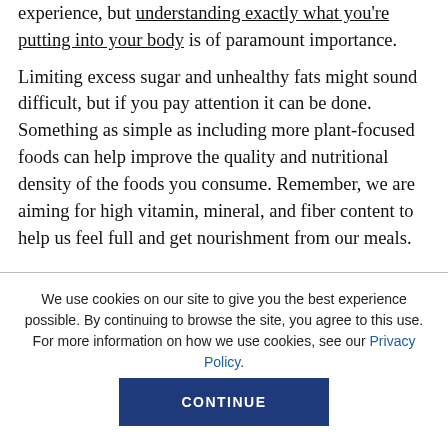experience, but understanding exactly what you're putting into your body is of paramount importance.
Limiting excess sugar and unhealthy fats might sound difficult, but if you pay attention it can be done. Something as simple as including more plant-focused foods can help improve the quality and nutritional density of the foods you consume. Remember, we are aiming for high vitamin, mineral, and fiber content to help us feel full and get nourishment from our meals.
We use cookies on our site to give you the best experience possible. By continuing to browse the site, you agree to this use. For more information on how we use cookies, see our Privacy Policy.